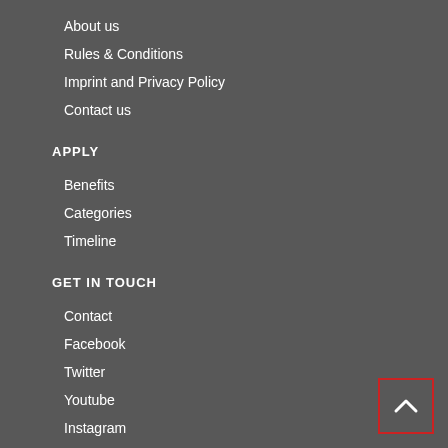About us
Rules & Conditions
Imprint and Privacy Policy
Contact us
APPLY
Benefits
Categories
Timeline
GET IN TOUCH
Contact
Facebook
Twitter
Youtube
Instagram
LinkedIn
[Figure (illustration): Back to top button with chevron up arrow, red border]